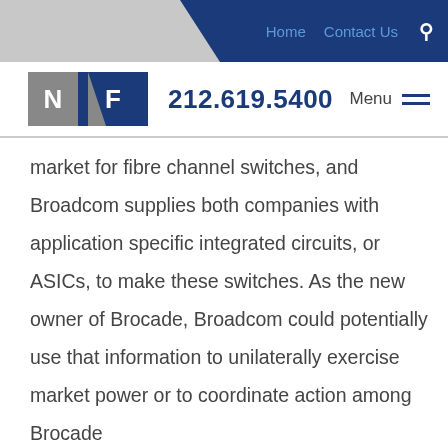Home  Contact Us  🔍
N F  212.619.5400  Menu
market for fibre channel switches, and Broadcom supplies both companies with application specific integrated circuits, or ASICs, to make these switches. As the new owner of Brocade, Broadcom could potentially use that information to unilaterally exercise market power or to coordinate action among Brocade